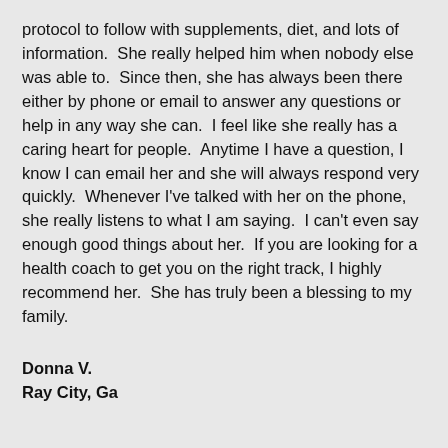protocol to follow with supplements, diet, and lots of information.  She really helped him when nobody else was able to.  Since then, she has always been there either by phone or email to answer any questions or help in any way she can.  I feel like she really has a caring heart for people.  Anytime I have a question, I know I can email her and she will always respond very quickly.  Whenever I've talked with her on the phone, she really listens to what I am saying.  I can't even say enough good things about her.  If you are looking for a health coach to get you on the right track, I highly recommend her.  She has truly been a blessing to my family.
Donna V.
Ray City, Ga